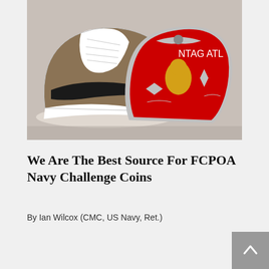[Figure (photo): Photo of two challenge coin pins shaped like sneakers. One is a brown/tan Nike Air Jordan 1 sneaker pin. The other is a red and silver sneaker-shaped pin with 'NTAG ATL' text and various military emblems including a gold bulldog figure, wings emblem, and rank insignia chevrons.]
We Are The Best Source For FCPOA Navy Challenge Coins
By Ian Wilcox (CMC, US Navy, Ret.)